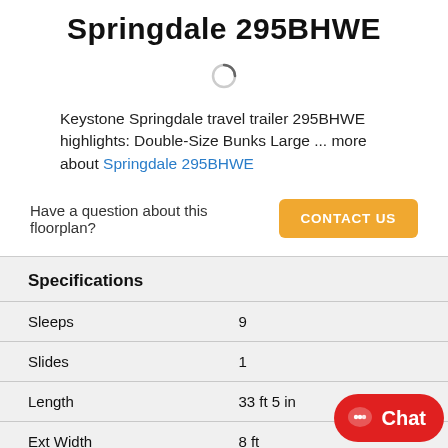Springdale 295BHWE
[Figure (other): Loading spinner icon]
Keystone Springdale travel trailer 295BHWE highlights: Double-Size Bunks Large ... more about Springdale 295BHWE
Have a question about this floorplan? CONTACT US
Specifications
| Spec | Value |
| --- | --- |
| Sleeps | 9 |
| Slides | 1 |
| Length | 33 ft 5 in |
| Ext Width | 8 ft |
| Ext Height | 10 |
| Interior Color | Midnight, Dusk |